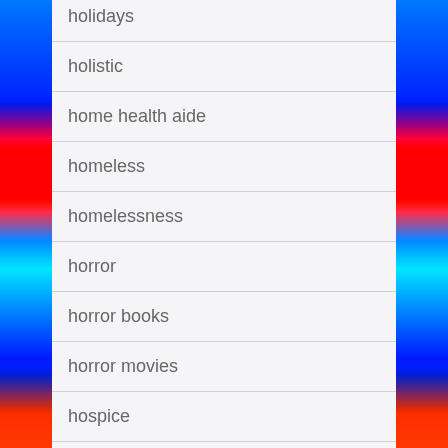holidays
holistic
home health aide
homeless
homelessness
horror
horror books
horror movies
hospice